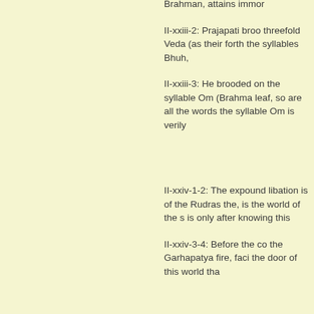Brahman, attains immor...
II-xxiii-2: Prajapati brood... threefold Veda (as their... forth the syllables Bhuh,...
II-xxiii-3: He brooded on... the syllable Om (Brahma... leaf, so are all the words... the syllable Om is verily...
II-xxiv-1-2: The expound... libation is of the Rudras... the, is the world of the s... is only after knowing this...
II-xxiv-3-4: Before the co... the Garhapatya fire, faci... the door of this world tha...